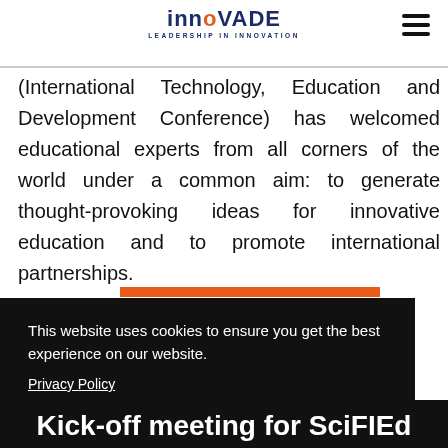innovADE — LEADERSHIP IN INNOVATION
(International Technology, Education and Development Conference) has welcomed educational experts from all corners of the world under a common aim: to generate thought-provoking ideas for innovative education and to promote international partnerships.
This website uses cookies to ensure you get the best experience on our website.
Privacy Policy
Got it!
Kick-off meeting for SciFIEd